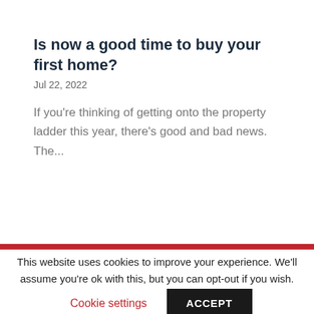Is now a good time to buy your first home?
Jul 22, 2022
If you're thinking of getting onto the property ladder this year, there's good and bad news. The...
This website uses cookies to improve your experience. We'll assume you're ok with this, but you can opt-out if you wish.
Cookie settings
ACCEPT